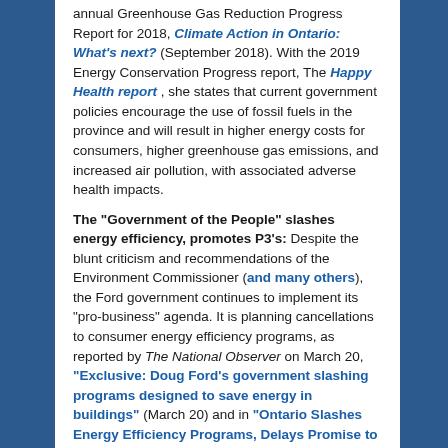annual Greenhouse Gas Reduction Progress Report for 2018, Climate Action in Ontario: What's next? (September 2018). With the 2019 Energy Conservation Progress report, The Happy Health report , she states that current government policies encourage the use of fossil fuels in the province and will result in higher energy costs for consumers, higher greenhouse gas emissions, and increased air pollution, with associated adverse health impacts.
The “Government of the People” slashes energy efficiency, promotes P3’s: Despite the blunt criticism and recommendations of the Environment Commissioner (and many others), the Ford government continues to implement its “pro-business” agenda. It is planning cancellations to consumer energy efficiency programs, as reported by The National Observer on March 20, “Exclusive: Doug Ford’s government slashing programs designed to save energy in buildings” (March 20) and in “Ontario Slashes Energy Efficiency Programs, Delays Promise to Cut Hydro Rates” in the Energy Mix (March 25), which summarizes the Globe and